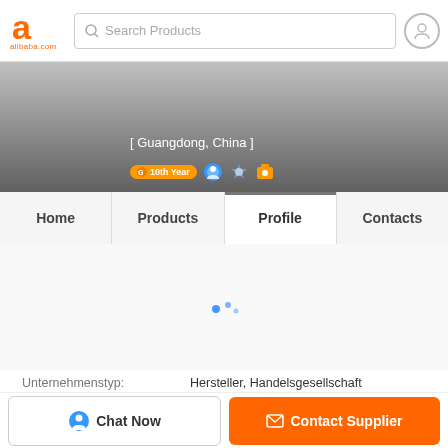[Figure (screenshot): Alibaba.com logo (orange stylized 'a' with red stroke) with 'alibaba.com' text below]
Search Products
[ Guangdong, China ]
10th Year
Home
Products
Profile
Contacts
Unternehmenstyp:
Hersteller, Handelsgesellschaft
Jahr der Firmengründung:
2013
Gesamtjahresumsatz :
confidential
Chat Now
Contact Supplier